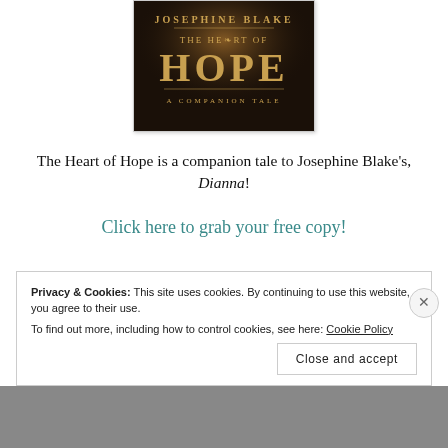[Figure (illustration): Book cover for 'The Heart of Hope' by Josephine Blake. Dark background with gold text reading 'JOSEPHINE BLAKE', 'THE HEART OF', 'HOPE' in large gold letters, and 'A COMPANION TALE' at the bottom.]
The Heart of Hope is a companion tale to Josephine Blake's, Dianna!
Click here to grab your free copy!
Privacy & Cookies: This site uses cookies. By continuing to use this website, you agree to their use.
To find out more, including how to control cookies, see here: Cookie Policy